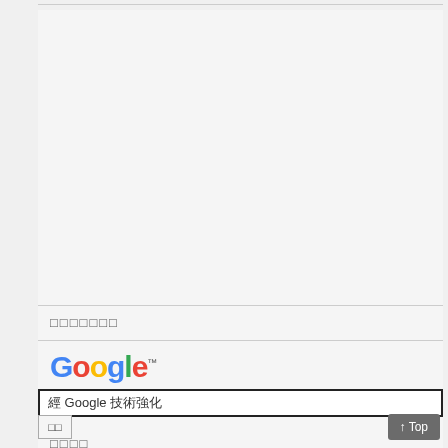[Figure (screenshot): Google-powered search widget screenshot showing Google logo and search bar with text '經 Google 技術強化' and a search button with small Chinese characters]
□□□□□□□
□□□□